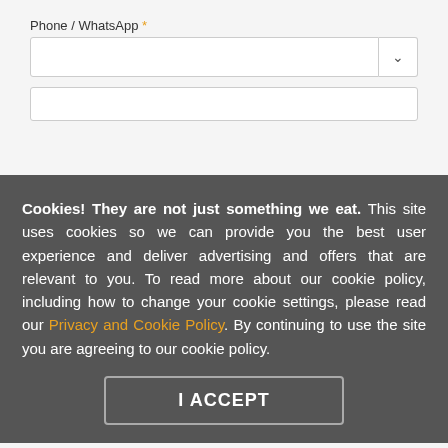Check out our corporate online classes
[Figure (logo): Traveling Spoon logo with orange circle and script text, with 'Dietary Restrictions or Special Requests' text visible behind]
Preferred Date *
Time Zone *
Cookies! They are not just something we eat. This site uses cookies so we can provide you the best user experience and deliver advertising and offers that are relevant to you. To read more about our cookie policy, including how to change your cookie settings, please read our Privacy and Cookie Policy. By continuing to use the site you are agreeing to our cookie policy.
I ACCEPT
Phone / WhatsApp *